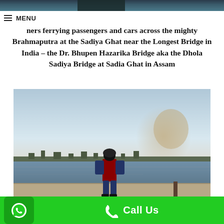MENU
ners ferrying passengers and cars across the mighty Brahmaputra at the Sadiya Ghat near the Longest Bridge in India – the Dr. Bhupen Hazarika Bridge aka the Dhola Sadiya Bridge at Sadia Ghat in Assam
[Figure (photo): A person standing on a riverbank/ghat, viewed from behind, with the Brahmaputra river in the background and smoke rising. Town visible across the river. Hazy sky.]
Call Us